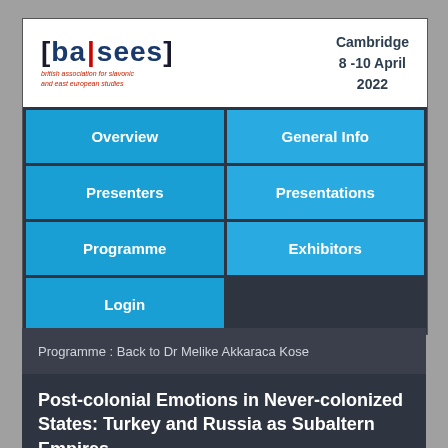[Figure (logo): BASEES (British Association for Slavonic and East European Studies) logo with text '[ba|sees]' and subtitle 'british association for slavonic and east european studies']
Cambridge
8 -10 April
2022
Overview
General Info
Presenters
Presentations
Programme
Exhibitors
Login
Programme : Back to Dr Melike Akkaraca Kose
Post-colonial Emotions in Never-colonized States: Turkey and Russia as Subaltern Empires